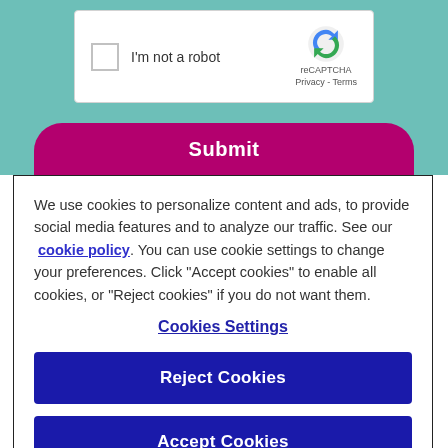[Figure (screenshot): reCAPTCHA widget showing a checkbox labeled 'I'm not a robot' with the reCAPTCHA logo, Privacy and Terms links]
[Figure (screenshot): Submit button styled in magenta/purple with rounded top corners on a teal background]
We use cookies to personalize content and ads, to provide social media features and to analyze our traffic. See our cookie policy. You can use cookie settings to change your preferences. Click "Accept cookies" to enable all cookies, or "Reject cookies" if you do not want them.
Cookies Settings
Reject Cookies
Accept Cookies